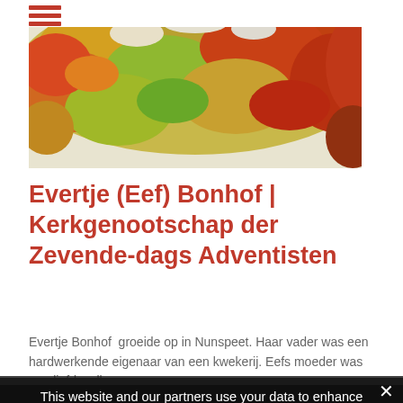[Figure (photo): Autumn tree leaves photo with yellow, green, orange and red foliage against a bright sky]
Evertje (Eef) Bonhof | Kerkgenootschap der Zevende-dags Adventisten
Evertje Bonhof  groeide op in Nunspeet. Haar vader was een hardwerkende eigenaar van een kwekerij. Eefs moeder was een liefdevolle
This website and our partners use your data to enhance functionality, improve the content provided and for analytics.
❯ Privacy Preferences
I Agree